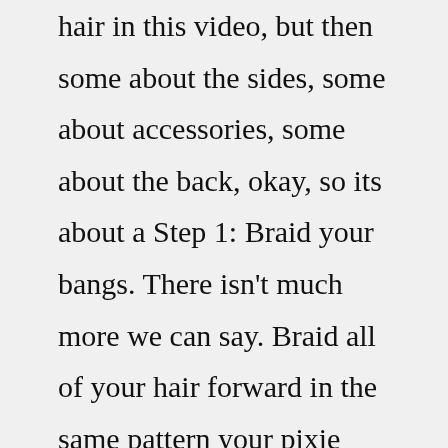hair in this video, but then some about the sides, some about accessories, some about the back, okay, so its about a Step 1: Braid your bangs. There isn't much more we can say. Braid all of your hair forward in the same pattern your pixie typically lies. If your hair is straight and your braids are likely to come loose, add small clear rubber bands at the ends. Step 2: If you don't want the hair to just fall to the front of your face, gather and sweep the ... Emulate this double